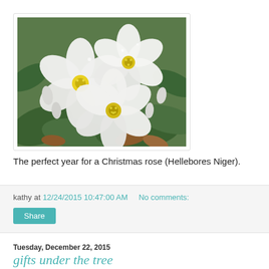[Figure (photo): Close-up photograph of white Christmas rose (Hellebores Niger) flowers with yellow centers, surrounded by green foliage and some brown leaves on the ground.]
The perfect year for a Christmas rose (Hellebores Niger).
kathy at 12/24/2015 10:47:00 AM   No comments:
Share
Tuesday, December 22, 2015
gifts under the tree